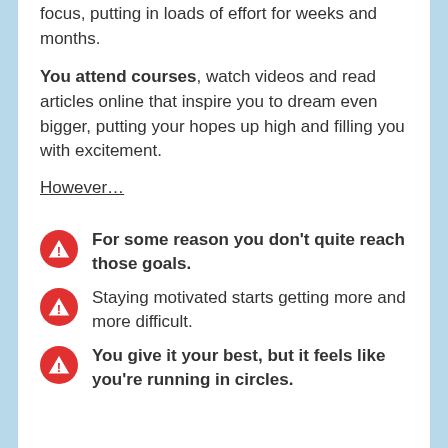focus, putting in loads of effort for weeks and months.
You attend courses, watch videos and read articles online that inspire you to dream even bigger, putting your hopes up high and filling you with excitement.
However...
For some reason you don't quite reach those goals.
Staying motivated starts getting more and more difficult.
You give it your best, but it feels like you're running in circles.